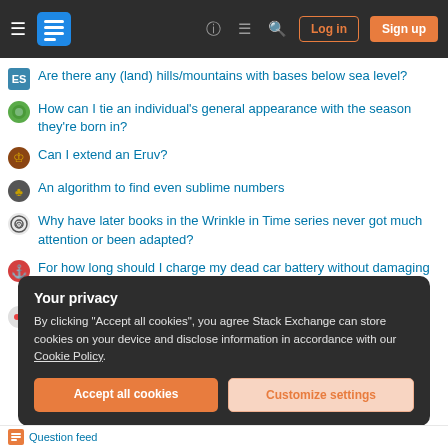Stack Exchange navigation bar with hamburger menu, logo, help, chat, search, Log in, Sign up buttons
Are there any (land) hills/mountains with bases below sea level?
How can I tie an individual's general appearance with the season they're born in?
Can I extend an Eruv?
An algorithm to find even sublime numbers
Why have later books in the Wrinkle in Time series never got much attention or been adapted?
For how long should I charge my dead car battery without damaging it?
How can I (Indian, 28) visit my fiance (pursuing MS in US) for a few months?
Your privacy
By clicking "Accept all cookies", you agree Stack Exchange can store cookies on your device and disclose information in accordance with our Cookie Policy.
[Accept all cookies] [Customize settings]
Question feed